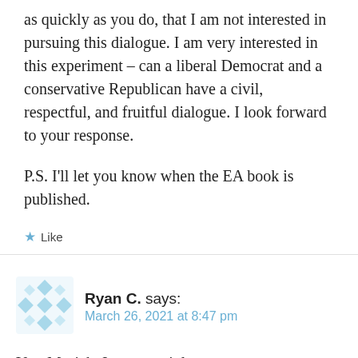as quickly as you do, that I am not interested in pursuing this dialogue. I am very interested in this experiment – can a liberal Democrat and a conservative Republican have a civil, respectful, and fruitful dialogue. I look forward to your response.
P.S. I'll let you know when the EA book is published.
Like
Ryan C. says: March 26, 2021 at 8:47 pm
Yes, Moriah, I can certainly agree to your